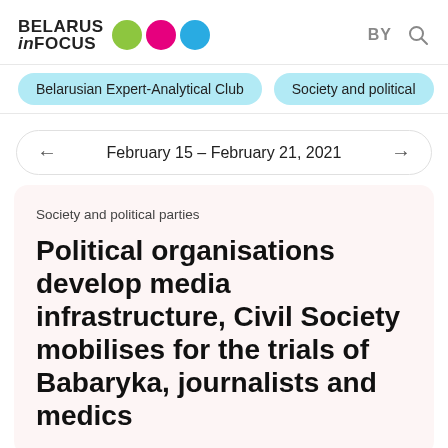BELARUS inFOCUS BY
Belarusian Expert-Analytical Club
Society and political
February 15 – February 21, 2021
Society and political parties
Political organisations develop media infrastructure, Civil Society mobilises for the trials of Babaryka, journalists and medics